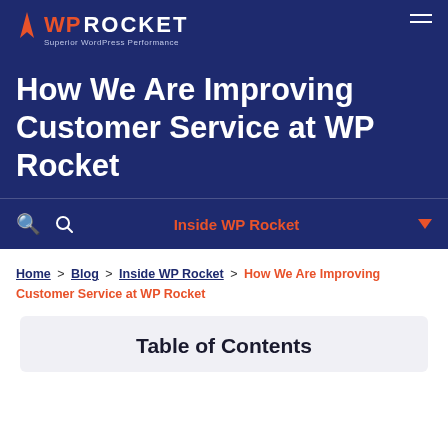WP ROCKET — Superior WordPress Performance
How We Are Improving Customer Service at WP Rocket
Inside WP Rocket
Home > Blog > Inside WP Rocket > How We Are Improving Customer Service at WP Rocket
Table of Contents